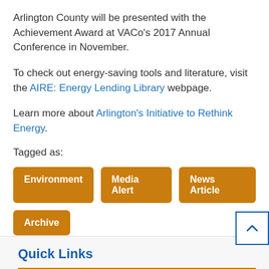Arlington County will be presented with the Achievement Award at VACo's 2017 Annual Conference in November.
To check out energy-saving tools and literature, visit the AIRE: Energy Lending Library webpage.
Learn more about Arlington's Initiative to Rethink Energy.
Tagged as:
Environment
Media Alert
News Article
Archive
Quick Links